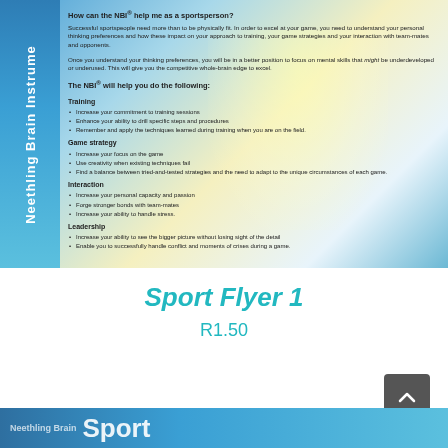[Figure (illustration): NBI Sport Flyer 1 promotional image with blue gradient background, vertical 'Neethling Brain Instrument' text on left side, and content about how NBI can help sportspeople with sections on Training, Game strategy, Interaction, and Leadership.]
Sport Flyer 1
R1.50
[Figure (illustration): Bottom strip showing Neethling Brain Sport branding with blue gradient background.]